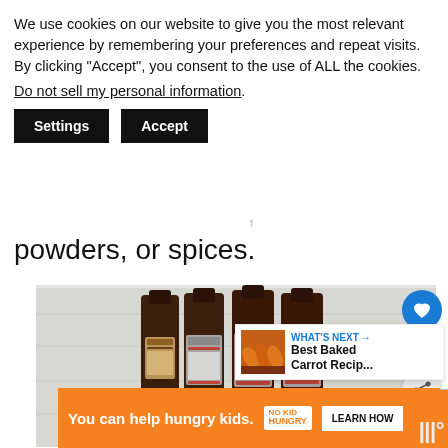We use cookies on our website to give you the most relevant experience by remembering your preferences and repeat visits. By clicking "Accept", you consent to the use of ALL the cookies. Do not sell my personal information.
Settings   Accept
powders, or spices.
[Figure (photo): Four dark amber glass bottles of Watkins brand flavoring extracts arranged on a white wood surface, with strawberries and cinnamon sticks in the foreground.]
WHAT'S NEXT → Best Baked Carrot Recip...
You can help hungry kids. NO KID HUNGRY LEARN HOW